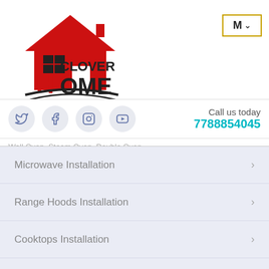[Figure (logo): Clover Home Solution logo with red house icon and bold text]
[Figure (screenshot): M dropdown button with gold border]
[Figure (infographic): Social media icons: Twitter, Facebook, Instagram, YouTube]
Call us today
7788854045
Wall Oven, Steam Oven, Double Oven...
Microwave Installation
Range Hoods Installation
Cooktops Installation
Smart Home Bells Installation